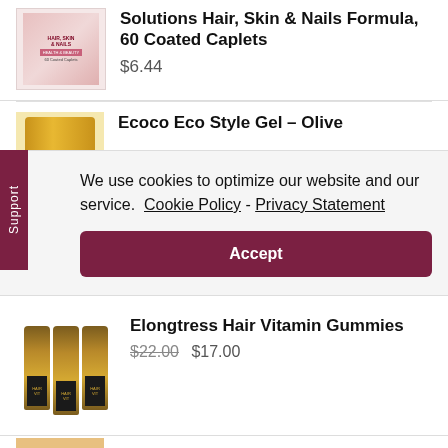[Figure (photo): Product image of Hair Skin and Nails supplement, pink box]
Solutions Hair, Skin & Nails Formula, 60 Coated Caplets
$6.44
[Figure (photo): Product image of Ecoco Eco Style Gel - Olive, gold/yellow container]
Ecoco Eco Style Gel - Olive
We use cookies to optimize our website and our service.  Cookie Policy - Privacy Statement
Accept
[Figure (photo): Three bottles of Elongtress Hair Vitamin Gummies with dark gold labels]
Elongtress Hair Vitamin Gummies
$22.00 $17.00
[Figure (photo): Partial product image at bottom of page]